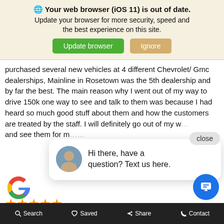🌐 Your web browser (iOS 11) is out of date. Update your browser for more security, speed and the best experience on this site. [Update browser] [Ignore]
purchased several new vehicles at 4 different Chevrolet/ Gmc dealerships, Mainline in Rosetown was the 5th dealership and by far the best. The main reason why I went out of my way to drive 150k one way to see and talk to them was because I had heard so much good stuff about them and how the customers are treated by the staff. I will definitely go out of my w... and see them for m...t...
close
Hi there, have a question? Text us here.
Google Feb 18, 202...
★★★★★
🔍 Search  ♡ Saved  👍 Share  📞 Contact